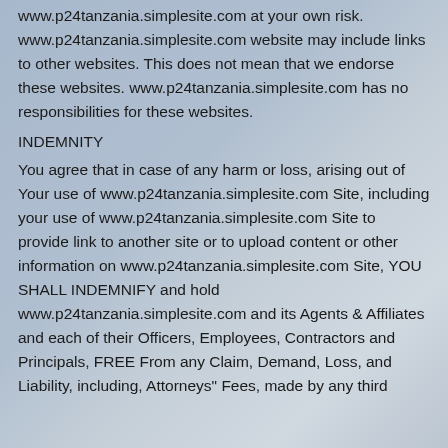www.p24tanzania.simplesite.com at your own risk. www.p24tanzania.simplesite.com website may include links to other websites. This does not mean that we endorse these websites. www.p24tanzania.simplesite.com has no responsibilities for these websites.
INDEMNITY
You agree that in case of any harm or loss, arising out of Your use of www.p24tanzania.simplesite.com Site, including your use of www.p24tanzania.simplesite.com Site to provide link to another site or to upload content or other information on www.p24tanzania.simplesite.com Site, YOU SHALL INDEMNIFY and hold www.p24tanzania.simplesite.com and its Agents & Affiliates and each of their Officers, Employees, Contractors and Principals, FREE From any Claim, Demand, Loss, and Liability, including, Attorneys" Fees, made by any third